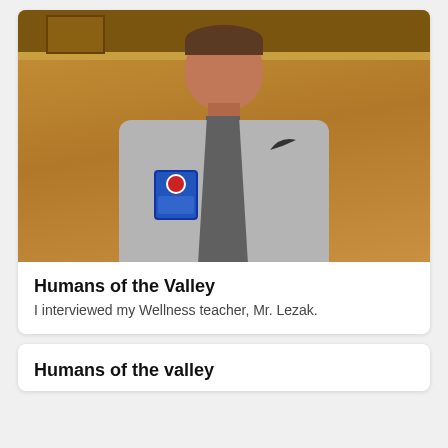[Figure (photo): A man wearing a grey Nike t-shirt with a badge/logo on it, sitting in front of a wooden shelf background. The person appears to be a teacher (Mr. Lezak).]
Humans of the Valley
I interviewed my Wellness teacher, Mr. Lezak.
Humans of the valley